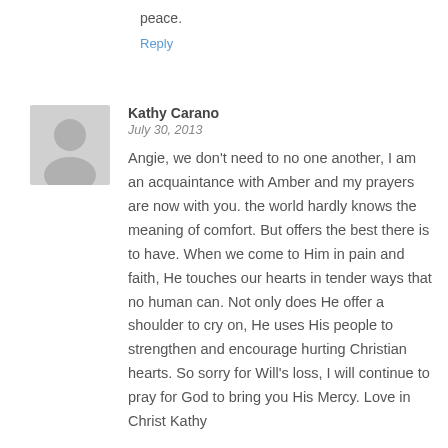peace.
Reply
Kathy Carano
July 30, 2013
Angie, we don't need to no one another, I am an acquaintance with Amber and my prayers are now with you. the world hardly knows the meaning of comfort. But offers the best there is to have. When we come to Him in pain and faith, He touches our hearts in tender ways that no human can. Not only does He offer a shoulder to cry on, He uses His people to strengthen and encourage hurting Christian hearts. So sorry for Will's loss, I will continue to pray for God to bring you His Mercy. Love in Christ Kathy